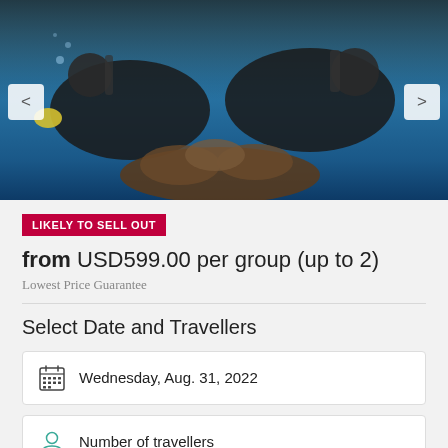[Figure (photo): Two scuba divers underwater, holding coral, with blue water background and navigation arrows on left and right sides.]
LIKELY TO SELL OUT
from USD599.00 per group (up to 2)
Lowest Price Guarantee
Select Date and Travellers
Wednesday, Aug. 31, 2022
Number of travellers